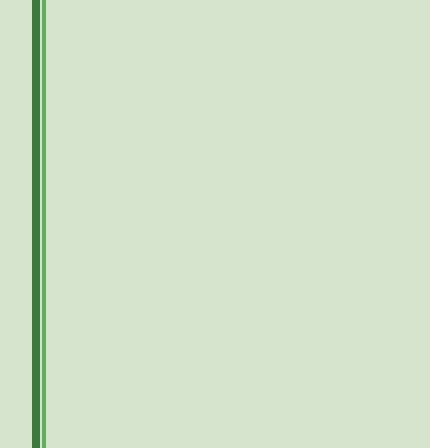| Date | Team |
| --- | --- |
|  | Falmouth United Rangers U |
|  | Goonhavern Blad |
|  | Threemilestone Tigers U |
|  | Illogan RBL JFC U12 Hotspu |
| 14/12/2014 |  |
|  | Threemilestone Tigers U |
|  | Grasshoppers F.C. 1 |
|  | Illogan RBL JFC U12 Hotspu |
| 21/12/2014 |  |
|  | Helston Harrie |
|  | Penzance AFC Youth Meteo |
| 04/01/2015 |  |
|  | Trevenson Harrie |
| 11/01/2015 |  |
|  | Helston Harrie |
|  | Falmouth United Rangers U |
|  | Leedstown Panthe |
|  | St Day Choughs u |
|  | Penzance AFC Youth Meteo |